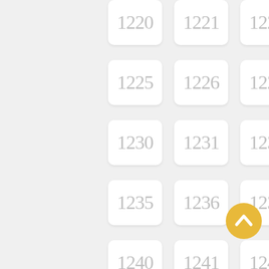[Figure (other): A grid of numbered cells from 1220 to 1274 arranged in 5 columns and 11 rows. Cell 1272 is highlighted with a darker background. A golden yellow circular back-to-top button with an upward chevron arrow is shown at bottom right.]